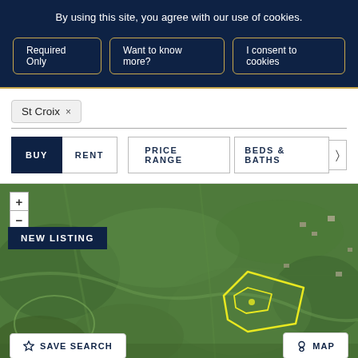By using this site, you agree with our use of cookies.
Required Only
Want to know more?
I consent to cookies
St Croix ×
BUY
RENT
PRICE RANGE
BEDS & BATHS
[Figure (map): Aerial satellite map view of St Croix area showing green forested land with a yellow outlined parcel boundary visible in the center-right portion. A NEW LISTING badge is overlaid on the upper-left. Map controls (+/-/pin) on top-left. SAVE SEARCH button on bottom-left, MAP button on bottom-right.]